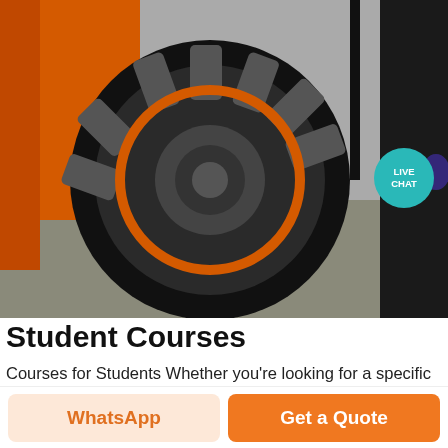[Figure (photo): Close-up photo of a large industrial/agricultural vehicle tire, orange machinery visible in background, live chat badge in upper right corner]
Student Courses
Courses for Students Whether you're looking for a specific NRA firearm course or just want to explore our course offerings, you're in the right place. Here you can browse the complete catalog of NRA firearm training courses by topic or type of firearm
« Send message
[Figure (photo): Partial photo of outdoor equipment/vehicle against trees]
WhatsApp
Get a Quote